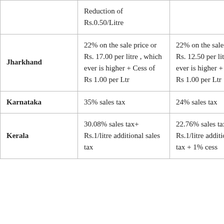|  | Reduction of Rs.0.50/Litre |  |
| Jharkhand | 22% on the sale price or Rs. 17.00 per litre , which ever is higher + Cess of Rs 1.00 per Ltr | 22% on the sale price or Rs. 12.50 per litre , which ever is higher + Cess of Rs 1.00 per Ltr |
| Karnataka | 35% sales tax | 24% sales tax |
| Kerala | 30.08% sales tax+ Rs.1/litre additional sales tax | 22.76% sales tax+ Rs.1/litre additional sales tax + 1% cess |